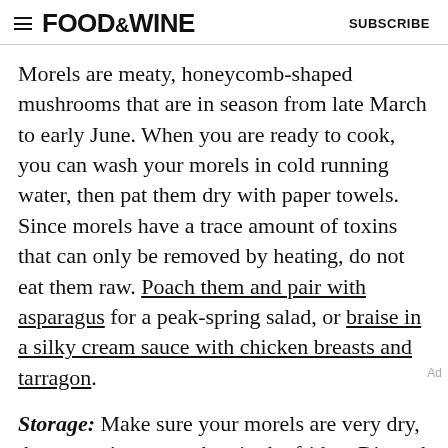FOOD&WINE   SUBSCRIBE
Morels are meaty, honeycomb-shaped mushrooms that are in season from late March to early June. When you are ready to cook, you can wash your morels in cold running water, then pat them dry with paper towels. Since morels have a trace amount of toxins that can only be removed by heating, do not eat them raw. Poach them and pair with asparagus for a peak-spring salad, or braise in a silky cream sauce with chicken breasts and tarragon.
Storage: Make sure your morels are very dry, then store in a paper bag in the fridge. Discard any that are bruised or softening because they will rot quickly and cause the other mushrooms to deteriorate...